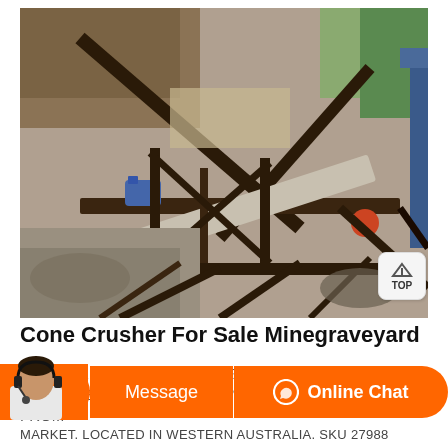[Figure (photo): Aerial/overhead view of a cone crusher and conveyor system at a mining or quarrying site, showing industrial steel framework, conveyor belts, motor, and crushed stone/gravel below.]
Cone Crusher For Sale Minegraveyard
CONE CRUSHER FOR SALE. SMALL CONE CRUSHER FOR SALE. NOT A LOT KNOWN BUT CAN FIND OUT FROM MARKET. LOCATED IN WESTERN AUSTRALIA. SKU 27988